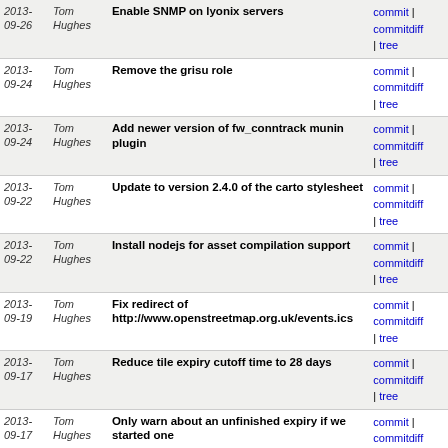| Date | Author | Message | Links |
| --- | --- | --- | --- |
| 2013-09-26 | Tom Hughes | Enable SNMP on lyonix servers | commit | commitdiff | tree |
| 2013-09-24 | Tom Hughes | Remove the grisu role | commit | commitdiff | tree |
| 2013-09-24 | Tom Hughes | Add newer version of fw_conntrack munin plugin | commit | commitdiff | tree |
| 2013-09-22 | Tom Hughes | Update to version 2.4.0 of the carto stylesheet | commit | commitdiff | tree |
| 2013-09-22 | Tom Hughes | Install nodejs for asset compilation support | commit | commitdiff | tree |
| 2013-09-19 | Tom Hughes | Fix redirect of http://www.openstreetmap.org.uk/events.ics | commit | commitdiff | tree |
| 2013-09-17 | Tom Hughes | Reduce tile expiry cutoff time to 28 days | commit | commitdiff | tree |
| 2013-09-17 | Tom Hughes | Only warn about an unfinished expiry if we started one | commit | commitdiff | tree |
| 2013-09-16 | Tom Hughes | Reduce the cutoff time when looking for tiles to expire | commit | commitdiff | tree |
| 2013-09-16 | Tom Hughes | Make sure tile cleanup issues are reported properly | commit | commitdiff | tree |
| 2013-09-15 | Tom Hughes | Don't use atomic updates for sysctl files | commit | commitdiff | tree |
| 2013-09-13 | Tom Hughes | Add #osm-ke to IRC channel list | commit | commitdiff | tree |
| 2013-09-11 | Tom Hughes | Warn if tile expiry doesn't manage to delete enough... | commit | commitdiff | tree |